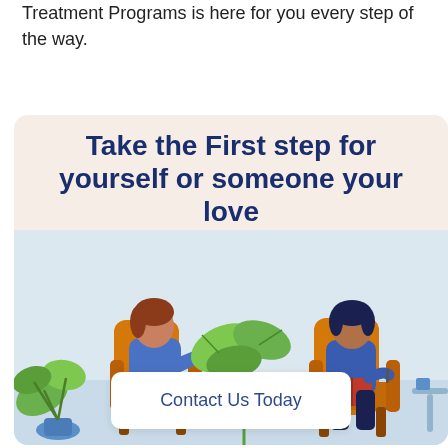Treatment Programs is here for you every step of the way.
[Figure (illustration): Promotional banner with illustration of a therapy session: a woman reclining in an orange armchair speaking to a therapist seated in an orange chair holding a notebook, with tropical plants in the background. Large bold text reads 'Take the First step for yourself or someone your love' and a white button reads 'Contact Us Today'.]